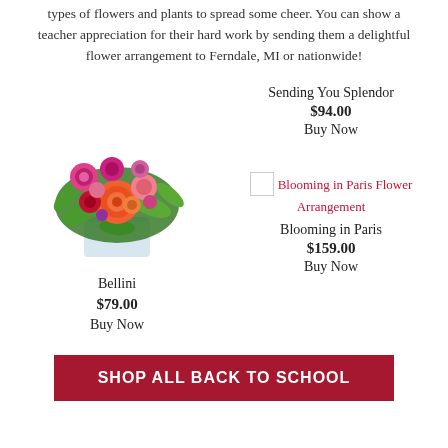types of flowers and plants to spread some cheer. You can show a teacher appreciation for their hard work by sending them a delightful flower arrangement to Ferndale, MI or nationwide!
Sending You Splendor
$94.00
Buy Now
[Figure (photo): Bellini flower arrangement: a vibrant bouquet with orange roses, pink roses, orange carnations, and greenery in a square glass vase.]
Bellini
$79.00
Buy Now
[Figure (photo): Broken image placeholder for Blooming in Paris Flower Arrangement]
Blooming in Paris
$159.00
Buy Now
SHOP ALL BACK TO SCHOOL